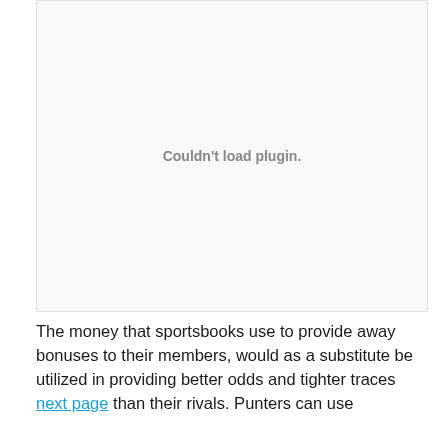[Figure (other): Plugin placeholder area showing 'Couldn't load plugin.' message in grey text on a light background]
The money that sportsbooks use to provide away bonuses to their members, would as a substitute be utilized in providing better odds and tighter traces next page than their rivals. Punters can use